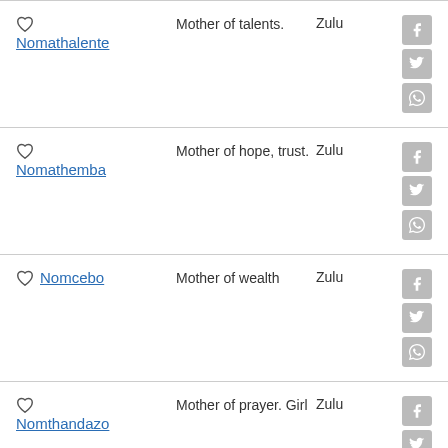Nomathalente – Mother of talents. – Zulu
Nomathemba – Mother of hope, trust. – Zulu
Nomcebo – Mother of wealth – Zulu
Nomthandazo – Mother of prayer. Girl – Zulu